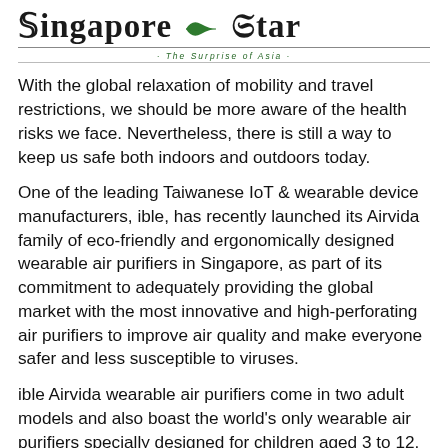Singapore Star · The Surprise of Asia
With the global relaxation of mobility and travel restrictions, we should be more aware of the health risks we face. Nevertheless, there is still a way to keep us safe both indoors and outdoors today.
One of the leading Taiwanese IoT & wearable device manufacturers, ible, has recently launched its Airvida family of eco-friendly and ergonomically designed wearable air purifiers in Singapore, as part of its commitment to adequately providing the global market with the most innovative and high-perforating air purifiers to improve air quality and make everyone safer and less susceptible to viruses.
ible Airvida wearable air purifiers come in two adult models and also boast the world's only wearable air purifiers specially designed for children aged 3 to 12.